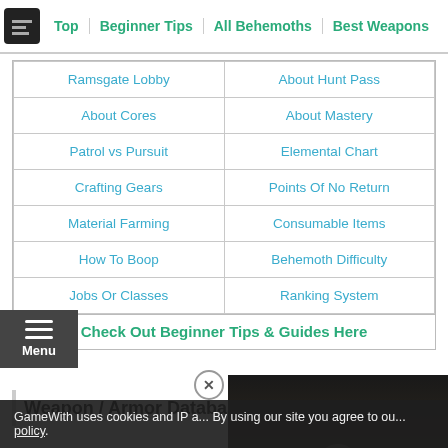Top | Beginner Tips | All Behemoths | Best Weapons
| Ramsgate Lobby | About Hunt Pass |
| About Cores | About Mastery |
| Patrol vs Pursuit | Elemental Chart |
| Crafting Gears | Points Of No Return |
| Material Farming | Consumable Items |
| How To Boop | Behemoth Difficulty |
| Jobs Or Classes | Ranking System |
Check Out Beginner Tips & Guides Here
Weapon / Armor Database
GameWith uses cookies and IP address. By using our site you agree to our cookie policy.
[Figure (screenshot): Video overlay showing a person with a play button, with 'STH AND MAKE GAMES' text at bottom]